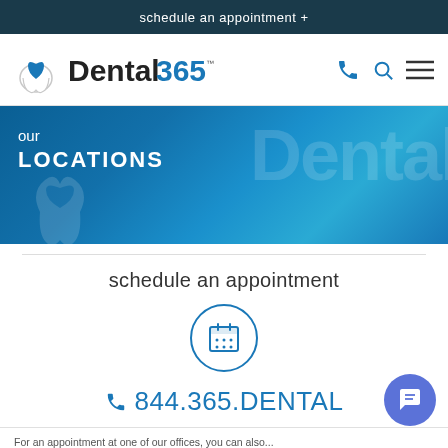schedule an appointment +
[Figure (logo): Dental365 logo with tooth and heart icon on the left, navigation icons (phone, search, hamburger menu) on the right]
[Figure (photo): Hero banner with blue tinted Dental365 office photo background, with overlaid text 'our LOCATIONS' and faint Dental365 watermark text and tooth icon]
schedule an appointment
[Figure (illustration): Calendar icon inside a circle, blue outline style]
844.365.DENTAL
For an appointment at one of our offices, you can also...